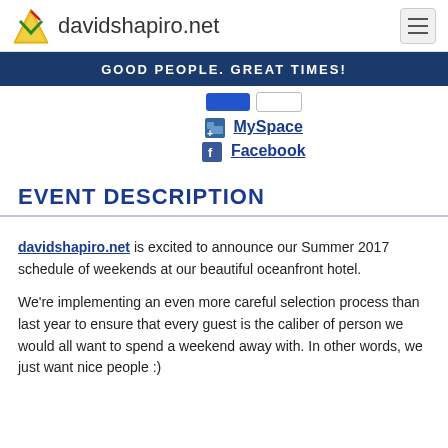davidshapiro.net
GOOD PEOPLE. GREAT TIMES!
[Figure (logo): MySpace and Facebook social media links with icons]
EVENT DESCRIPTION
davidshapiro.net is excited to announce our Summer 2017 schedule of weekends at our beautiful oceanfront hotel.
We're implementing an even more careful selection process than last year to ensure that every guest is the caliber of person we would all want to spend a weekend away with. In other words, we just want nice people :)